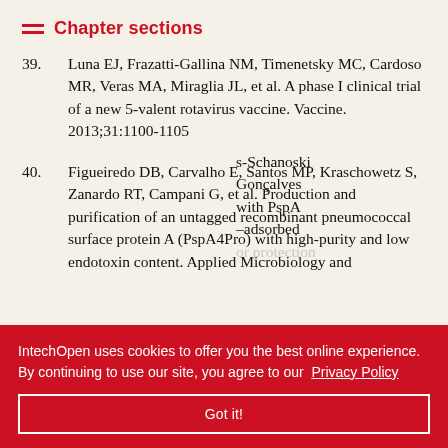Chapter sections
39. Luna EJ, Frazatti-Gallina NM, Timenetsky MC, Cardoso MR, Veras MA, Miraglia JL, et al. A phase I clinical trial of a new 5-valent rotavirus vaccine. Vaccine. 2013;31:1100-1105
40. Figueiredo DB, Carvalho E, Santos MP, Kraschowetz S, Zanardo RT, Campani G, et al. Production and purification of an untagged recombinant pneumococcal surface protein A (PspA4Pro) with high-purity and low endotoxin content. Applied Microbiology and [text continues behind banner]
[partially obscured text] s-Schanoski Gonçalves with PspA -adsorbed or protection [text continues]
IntechOpen uses cookies to offer you the best online experience. By continuing to use our site, you agree to our Privacy Policy
Got it!